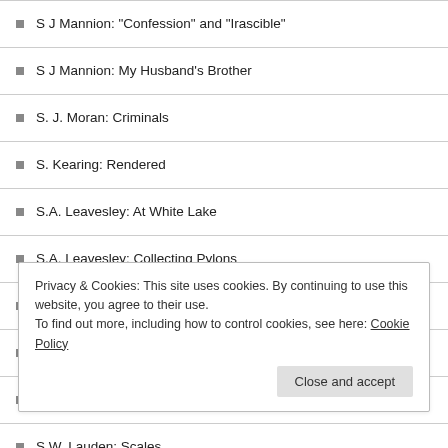S J Mannion: "Confession" and "Irascible"
S J Mannion: My Husband's Brother
S. J. Moran: Criminals
S. Kearing: Rendered
S.A. Leavesley: At White Lake
S.A. Leavesley: Collecting Pylons
S.A. Leavesley: Survival
S.A. Leavesley: The Grape-Face
S.E. Casey: A Broken Oath
S.W. Lauden: Scales
Privacy & Cookies: This site uses cookies. By continuing to use this website, you agree to their use.
To find out more, including how to control cookies, see here: Cookie Policy
Close and accept